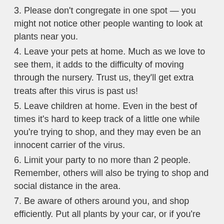3. Please don't congregate in one spot — you might not notice other people wanting to look at plants near you.
4. Leave your pets at home. Much as we love to see them, it adds to the difficulty of moving through the nursery. Trust us, they'll get extra treats after this virus is past us!
5. Leave children at home. Even in the best of times it's hard to keep track of a little one while you're trying to shop, and they may even be an innocent carrier of the virus.
6. Limit your party to no more than 2 people. Remember, others will also be trying to shop and social distance in the area.
7. Be aware of others around you, and shop efficiently. Put all plants by your car, or if you're parked on the side in an open area on that end of the nursery. We will get your credit card information there when you're ready.
🌻🌿🌿We value all of you and want to make your